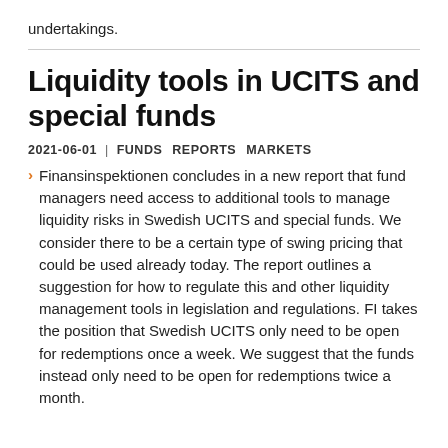undertakings.
Liquidity tools in UCITS and special funds
2021-06-01 | FUNDS REPORTS MARKETS
Finansinspektionen concludes in a new report that fund managers need access to additional tools to manage liquidity risks in Swedish UCITS and special funds. We consider there to be a certain type of swing pricing that could be used already today. The report outlines a suggestion for how to regulate this and other liquidity management tools in legislation and regulations. FI takes the position that Swedish UCITS only need to be open for redemptions once a week. We suggest that the funds instead only need to be open for redemptions twice a month.